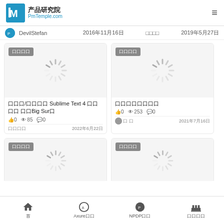产品研究院 PmTemple.com
DevilStefan  2016年11月16日  □□□□  2019年5月27日
[Figure (screenshot): Loading spinner placeholder image with tag 口口口口]
口口口/口口口口 Sublime Text 4 口口口口 口口Big Sur口
口0  © 85  □0
口口口口  2022年6月22日
[Figure (screenshot): Loading spinner placeholder image with tag 口口口口]
口口口口口口口口
口0  © 253  □0
口 口  2021年7月16日
[Figure (screenshot): Loading spinner placeholder image with tag 口口口口]
[Figure (screenshot): Loading spinner placeholder image with tag 口口口口]
首  Axure口口  NPDP口口  口口口口